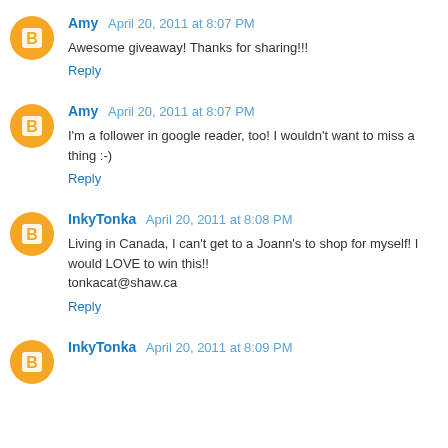Amy April 20, 2011 at 8:07 PM
Awesome giveaway! Thanks for sharing!!!
Reply
Amy April 20, 2011 at 8:07 PM
I'm a follower in google reader, too! I wouldn't want to miss a thing :-)
Reply
InkyTonka April 20, 2011 at 8:08 PM
Living in Canada, I can't get to a Joann's to shop for myself! I would LOVE to win this!!
tonkacat@shaw.ca
Reply
InkyTonka April 20, 2011 at 8:09 PM